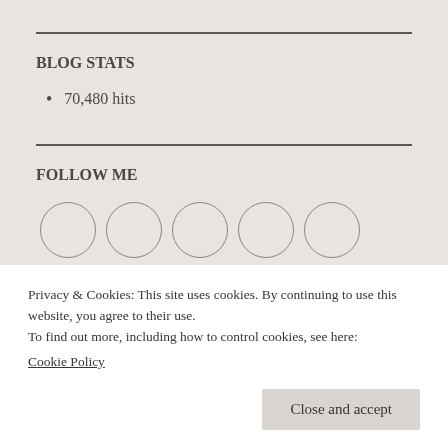BLOG STATS
70,480 hits
FOLLOW ME
[Figure (illustration): Five circular social media icon placeholders in a row]
Privacy & Cookies: This site uses cookies. By continuing to use this website, you agree to their use.
To find out more, including how to control cookies, see here:
Cookie Policy
Close and accept